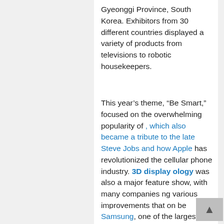Gyeonggi Province, South Korea. Exhibitors from 30 different countries displayed a variety of products from televisions to robotic housekeepers.
This year's theme, “Be Smart,” focused on the overwhelming popularity of , which also became a tribute to the late Steve Jobs and how Apple has revolutionized the cellular phone industry. 3D display technology was also a major feature show, with many companies ng various improvements that on be implemented in next- tion home theater devices.
TwitCount Button
Share
Samsung, one of the largest tech